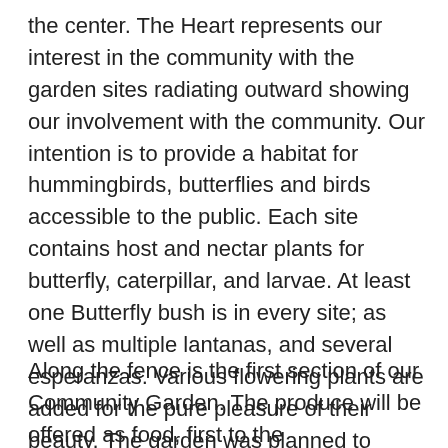the center. The Heart represents our interest in the community with the garden sites radiating outward showing our involvement with the community. Our intention is to provide a habitat for hummingbirds, butterflies and birds accessible to the public. Each site contains host and nectar plants for butterfly, caterpillar, and larvae. At least one Butterfly bush is in every site; as well as multiple lantanas, and several esperanzas. Various flowering plants are added for the pure pleasure of their beauty. The garden was planned to provide food, shelter, and habitat. Most of our fluttering visitors are Monarchs, a few Sulfurs and an occasional Black and White.
Along the fence is the first section of our Community Garden. The produce will be offered as food, first to the